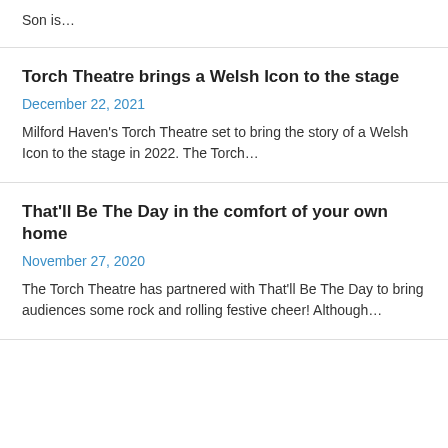Son is…
Torch Theatre brings a Welsh Icon to the stage
December 22, 2021
Milford Haven's Torch Theatre set to bring the story of a Welsh Icon to the stage in 2022. The Torch…
That'll Be The Day in the comfort of your own home
November 27, 2020
The Torch Theatre has partnered with That'll Be The Day to bring audiences some rock and rolling festive cheer! Although…